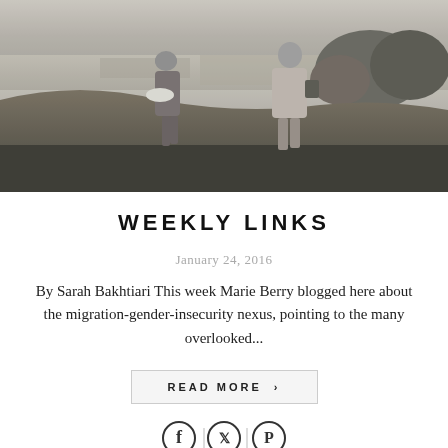[Figure (photo): Black and white photograph of two people standing on a hillside with rolling countryside fields in the background.]
WEEKLY LINKS
January 24, 2016
By Sarah Bakhtiari This week Marie Berry blogged here about the migration-gender-insecurity nexus, pointing to the many overlooked...
READ MORE >